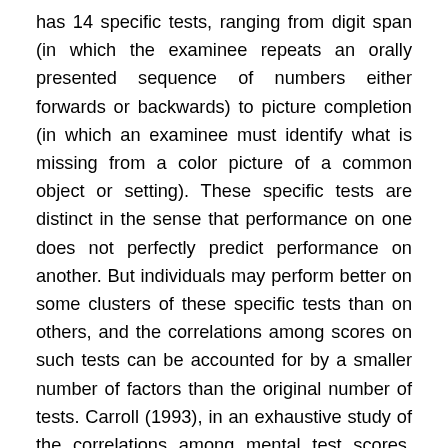has 14 specific tests, ranging from digit span (in which the examinee repeats an orally presented sequence of numbers either forwards or backwards) to picture completion (in which an examinee must identify what is missing from a color picture of a common object or setting). These specific tests are distinct in the sense that performance on one does not perfectly predict performance on another. But individuals may perform better on some clusters of these specific tests than on others, and the correlations among scores on such tests can be accounted for by a smaller number of factors than the original number of tests. Carroll (1993), in an exhaustive study of the correlations among mental test scores, concluded that there are eight factors that can adequately represent the clusters: broad visual perception, broad auditory perception, broad retrieval ability, broad cognitive speediness,